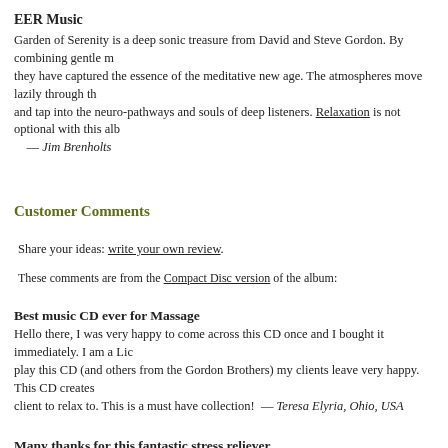EER Music
Garden of Serenity is a deep sonic treasure from David and Steve Gordon. By combining gentle m... they have captured the essence of the meditative new age. The atmospheres move lazily through th... and tap into the neuro-pathways and souls of deep listeners. Relaxation is not optional with this alb... — Jim Brenholts
Customer Comments
Share your ideas: write your own review.
These comments are from the Compact Disc version of the album:
Best music CD ever for Massage
Hello there, I was very happy to come across this CD once and I bought it immediately. I am a Lic... play this CD (and others from the Gordon Brothers) my clients leave very happy. This CD creates ... client to relax to. This is a must have collection!  —  Teresa Elyria, Ohio, USA
Many thanks for this fantastic stress reliever
I was introduced to "'Garden of Serenity'" by a co-worker in the late 80's and I loved it! I wore ou... on CD I was ecstatic. I'm your typical, mid-income, married, college educated woman in my 30's a... everyone who complains of being stressed out as there is something in the music and sounds that c... since then, I've gone on to buy a few other CD's by David & Steve Gordon (as well as Gary Stadle... always be my favorite. I just wanted to express my thanks to you, the artists, for creating such beau...